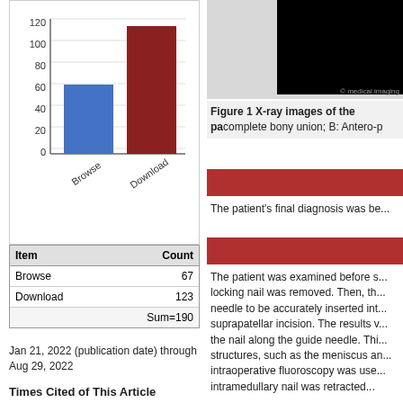[Figure (bar-chart): Browse vs Download]
| Item | Count |
| --- | --- |
| Browse | 67 |
| Download | 123 |
|  | Sum=190 |
Jan 21, 2022 (publication date) through Aug 29, 2022
Times Cited of This Article
[Figure (photo): X-ray image (partially cropped), dark background with medical imaging]
Figure 1 X-ray images of the pa... complete bony union; B: Antero-p...
The patient's final diagnosis was be...
The patient was examined before s... locking nail was removed. Then, th... needle to be accurately inserted int... suprapatellar incision. The results v... the nail along the guide needle. Thi... structures, such as the meniscus an... intraoperative fluoroscopy was use... intramedullary nail was retracted...